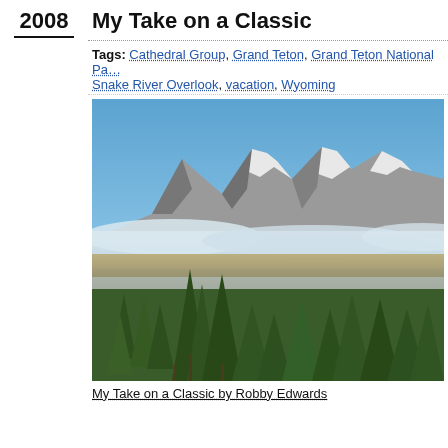2008
My Take on a Classic
Tags: Cathedral Group, Grand Teton, Grand Teton National Park, Snake River Overlook, vacation, Wyoming
[Figure (photo): Landscape photograph of Grand Teton mountains with clouds and pine trees in foreground, taken from Snake River Overlook. Photo by Robby Edwards.]
My Take on a Classic by Robby Edwards